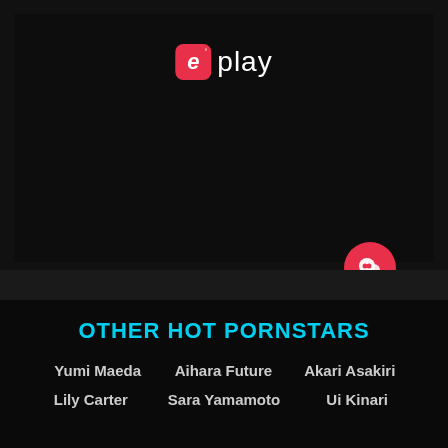[Figure (logo): eplay logo with pink/red rounded square icon containing stylized letter e and the word 'play' in white]
[Figure (other): Pink circular chat bubble button positioned in the lower right of the video player area]
OTHER HOT PORNSTARS
Yumi Maeda
Aihara Future
Akari Asakiri
Lily Carter
Sara Yamamoto
Ui Kinari